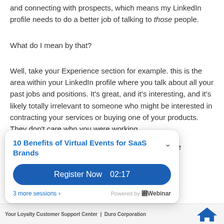and connecting with prospects, which means my LinkedIn profile needs to do a better job of talking to those people.
What do I mean by that?
Well, take your Experience section for example. this is the area within your LinkedIn profile where you talk about all your past jobs and positions. It's great, and it's interesting, and it's likely totally irrelevant to someone who might be interested in contracting your services or buying one of your products. They don't care who you were working [...]ave the [...]heir
[Figure (screenshot): Popup widget for '10 Benefits of Virtual Events for SaaS Brands' with a 'Register Now 02:17' blue button, '3 more sessions' link, and 'Powered by eWebinar' footer.]
Your Loyalty Customer Support Center | Duro Corporation